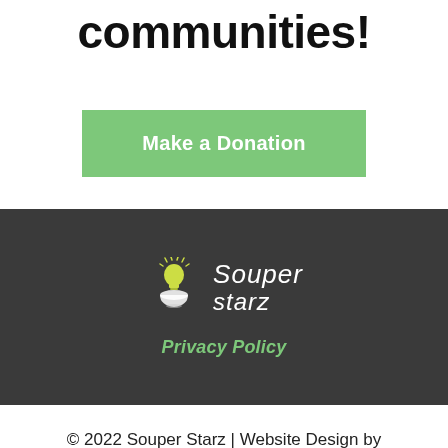communities!
Make a Donation
[Figure (logo): Souper Starz logo with a lightbulb above a bowl and cursive text reading Souper Starz]
Privacy Policy
© 2022 Souper Starz | Website Design by Mile Up Marketing Solutions